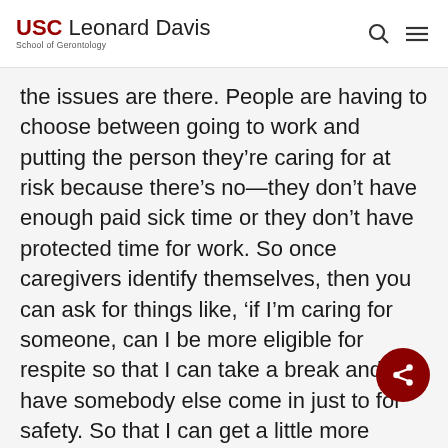USC Leonard Davis School of Gerontology
the issues are there. People are having to choose between going to work and putting the person they’re caring for at risk because there’s no—they don’t have enough paid sick time or they don’t have protected time for work. So once caregivers identify themselves, then you can ask for things like, ‘if I’m caring for someone, can I be more eligible for respite so that I can take a break and have somebody else come in just to for safety. So that I can get a little more